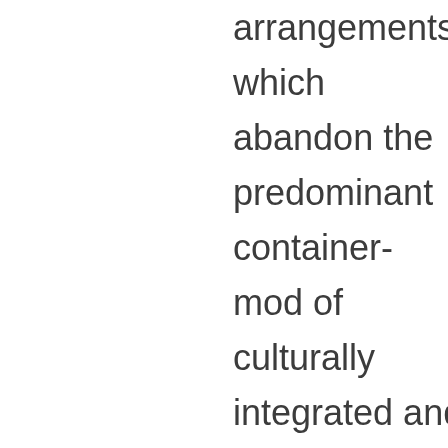arrangements, which abandon the predominant container-model of culturally integrated and from each other separated nation-state-societies . Albeit the transition process of reflexive modernization unfold by its own dynamic mainly through various side-effects and problematizations of current demarcations despite of individuals opinions about it, it causes new demands also for them. Because of dis-embedding of their old institutionalized certainties, individuals are now forced to re-embed their personal life in this new situation of the second modernity. Hence the o